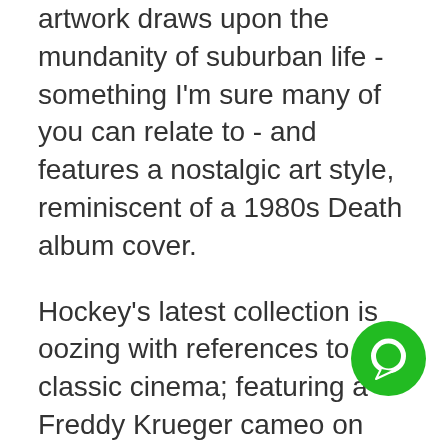artwork draws upon the mundanity of suburban life - something I'm sure many of you can relate to - and features a nostalgic art style, reminiscent of a 1980s Death album cover.
Hockey's latest collection is oozing with references to classic cinema; featuring a Freddy Krueger cameo on Ben Kadow's 'Tunaboy' deck, and - our personal favourite - a Terminator 2 allusion in the 'Liquid Metal' series. All of which are available in the form of T-Shirts - and hoodies - as well as decks so you can co-ordinate your outfit with...